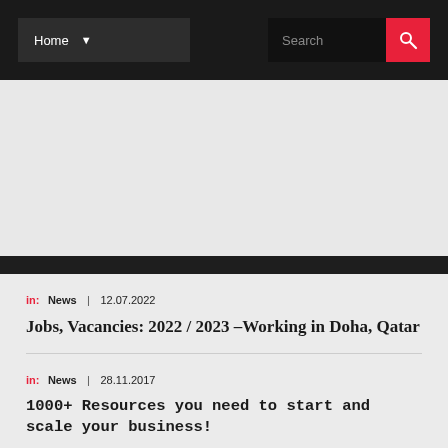Home | Search
in: News | 12.07.2022
Jobs, Vacancies: 2022 / 2023 –Working in Doha, Qatar
in: News | 28.11.2017
1000+ Resources you need to start and scale your business!